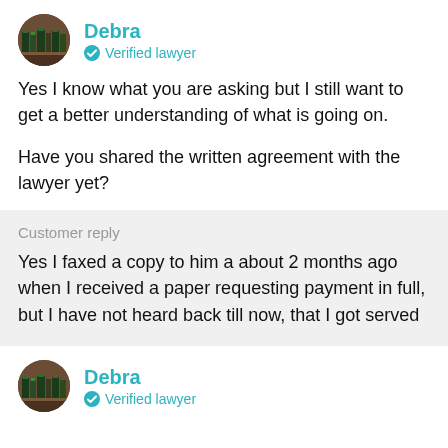[Figure (photo): Avatar photo of Debra – law books background]
Debra
Verified lawyer
Yes I know what you are asking but I still want to get a better understanding of what is going on.

Have you shared the written agreement with the lawyer yet?
Customer reply
Yes I faxed a copy to him a about 2 months ago when I received a paper requesting payment in full, but I have not heard back till now, that I got served
[Figure (photo): Avatar photo of Debra – law books background]
Debra
Verified lawyer